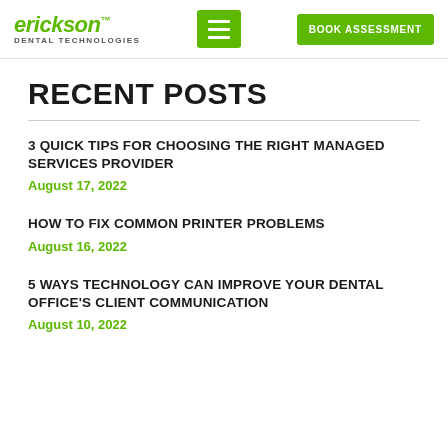erickson DENTAL TECHNOLOGIES | [hamburger menu] | BOOK ASSESSMENT
RECENT POSTS
3 QUICK TIPS FOR CHOOSING THE RIGHT MANAGED SERVICES PROVIDER
August 17, 2022
HOW TO FIX COMMON PRINTER PROBLEMS
August 16, 2022
5 WAYS TECHNOLOGY CAN IMPROVE YOUR DENTAL OFFICE'S CLIENT COMMUNICATION
August 10, 2022